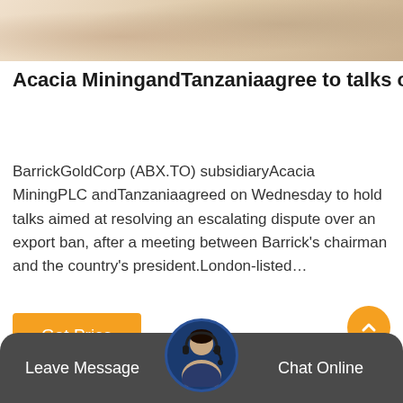[Figure (photo): Top banner image showing a muted warm-toned background, likely a mining or financial scene]
Acacia MiningandTanzaniaagree to talks over taxes and
BarrickGoldCorp (ABX.TO) subsidiaryAcacia MiningPLC andTanzaniaagreed on Wednesday to hold talks aimed at resolving an escalating dispute over an export ban, after a meeting between Barrick's chairman and the country's president.London-listed…
[Figure (other): Orange 'Get Price' button]
[Figure (other): Orange circular scroll-to-top button with upward chevron]
[Figure (other): Bottom dark bar with customer service avatar, 'Leave Message' on left and 'Chat Online' on right]